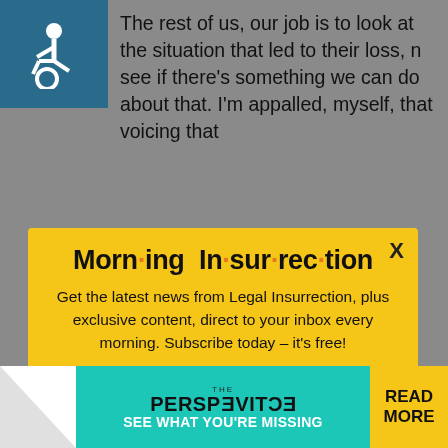[Figure (screenshot): Background article page with wheelchair accessibility icon and partial article text visible behind modal]
The rest of us, our job is to look at the situation that led to their loss, n see if there's something we can do about that. I'm appalled, myself, that voicing that
[Figure (infographic): Morning Insurrection email newsletter subscription modal with yellow background. Title reads 'Morn·ing In·sur·rec·tion'. Body text: 'Get the latest news from Legal Insurrection, plus exclusive content, direct to your inbox every morning. Subscribe today – it's free!' with JOIN NOW button.]
under such circumstances.
I fail to understand this
[Figure (advertisement): Bottom ad banner: THE PERSPECTIVE - SEE WHAT YOU'RE MISSING - READ MORE]
ConradCA in reply to snowshooze